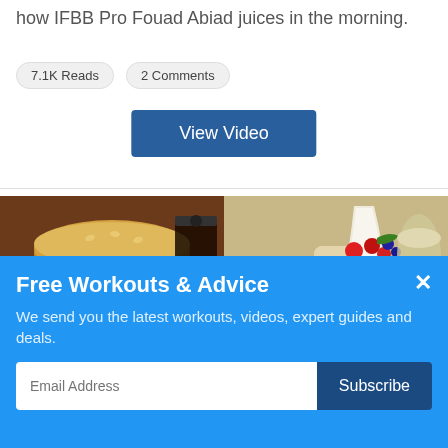how IFBB Pro Fouad Abiad juices in the morning.
7.1K Reads   2 Comments
View Video
[Figure (photo): Left: cheeseburger with fries and a dark drink. Right: parfait dessert with berries and granola jars.]
Free Workouts & Advice
We send you the latest workouts, videos, expert guides and deals.
Email Address  Subscribe